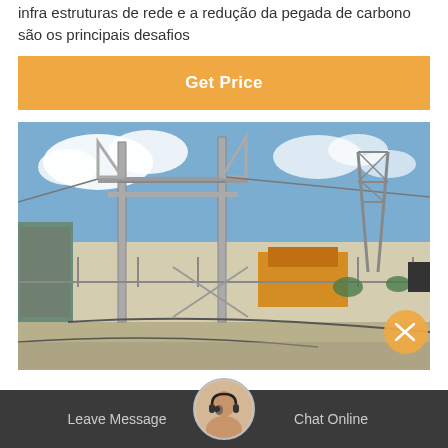infra estruturas de rede e a redução da pegada de carbono são os principais desafios
Get Price
[Figure (photo): Outdoor electrical substation with high-voltage transmission towers and infrastructure under a blue sky with clouds]
Leave Message   Chat Online